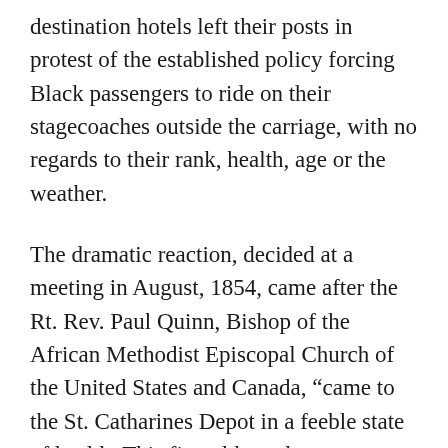destination hotels left their posts in protest of the established policy forcing Black passengers to ride on their stagecoaches outside the carriage, with no regards to their rank, health, age or the weather.
The dramatic reaction, decided at a meeting in August, 1854, came after the Rt. Rev. Paul Quinn, Bishop of the African Methodist Episcopal Church of the United States and Canada, “came to the St. Catharines Depot in a feeble state of health. This fine old gentleman…was compelled to climb up and take his seat outside to ride into